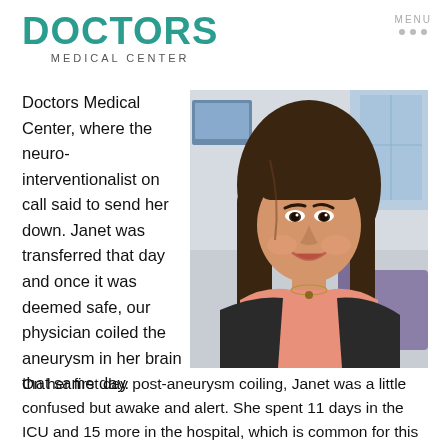DOCTORS MEDICAL CENTER
[Figure (photo): Portrait photo of a smiling Asian woman with long brown hair, wearing a salmon/pink top and dark jacket, seated indoors]
Doctors Medical Center, where the neuro-interventionalist on call said to send her down. Janet was transferred that day and once it was deemed safe, our physician coiled the aneurysm in her brain that same day.
On her first day post-aneurysm coiling, Janet was a little confused but awake and alert. She spent 11 days in the ICU and 15 more in the hospital, which is common for this type of aneurysm. Amazingly, Janet went home with only